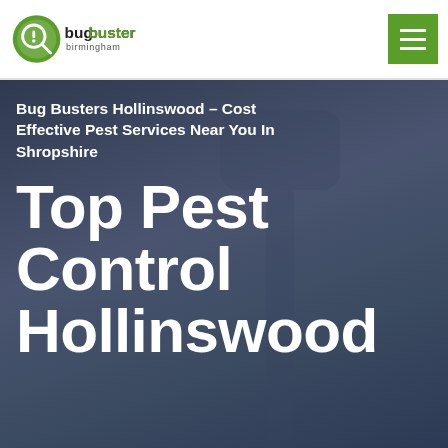[Figure (logo): Bug Buster Birmingham logo — circular green magnifying glass icon with an exclamation mark, beside the text 'bugbuster birmingham']
[Figure (other): Green hamburger menu button (three horizontal white lines on green background) in the top-right corner of the navigation bar]
Bug Busters Hollinswood – Cost Effective Pest Services Near You In Shropshire
Top Pest Control Hollinswood